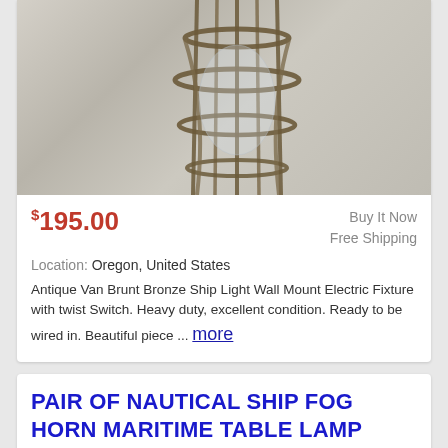[Figure (photo): Antique bronze ship wall light fixture with metal cage guard over glass bulb, mounted against a concrete/grey wall background]
$195.00
Buy It Now
Free Shipping
Location: Oregon, United States
Antique Van Brunt Bronze Ship Light Wall Mount Electric Fixture with twist Switch. Heavy duty, excellent condition. Ready to be wired in. Beautiful piece ... more
PAIR OF NAUTICAL SHIP FOG HORN MARITIME TABLE LAMP METAL BRASS TONE ELECTRIC 30"
[Figure (photo): Partial image of a nautical brass tone lamp at bottom of page, cropped]